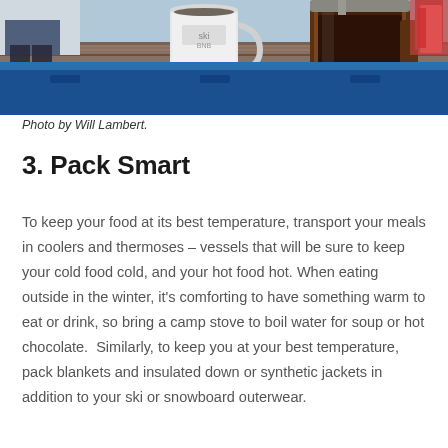[Figure (photo): Outdoor winter scene on a wooden surface with a white camping mug labeled 'ski' and a large brown thermos/press pot on a blue cooler, with a person sitting in background]
Photo by Will Lambert.
3. Pack Smart
To keep your food at its best temperature, transport your meals in coolers and thermoses – vessels that will be sure to keep your cold food cold, and your hot food hot. When eating outside in the winter, it's comforting to have something warm to eat or drink, so bring a camp stove to boil water for soup or hot chocolate.  Similarly, to keep you at your best temperature, pack blankets and insulated down or synthetic jackets in addition to your ski or snowboard outerwear.